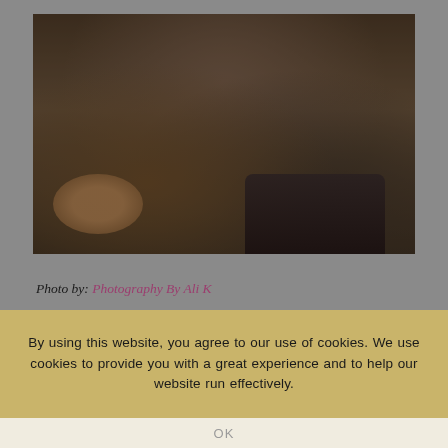[Figure (photo): A couple sitting on a dark couch in a cozy living room. There is a round wooden coffee table with cups and items on it. A fluffy rug is visible on the floor. The image has a dark, moody tone.]
Photo by: Photography By Ali K
By using this website, you agree to our use of cookies. We use cookies to provide you with a great experience and to help our website run effectively.
OK